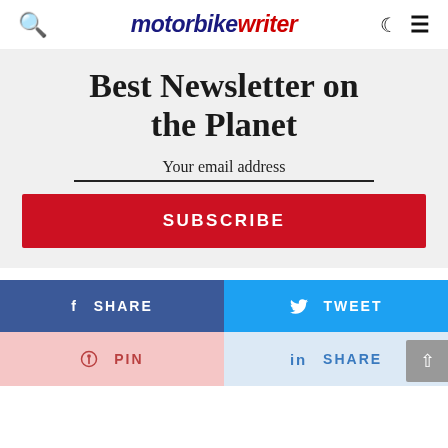motorbike writer
Best Newsletter on the Planet
Your email address
SUBSCRIBE
f SHARE
TWEET
PIN
in SHARE